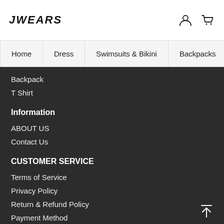JWEARS
Home | Dress | Swimsuits & Bikini | Backpacks | Clothing
Backpack
T Shirt
Information
ABOUT US
Contact Us
CUSTOMER SERVICE
Terms of Service
Privacy Policy
Return & Refund Policy
Payment Method